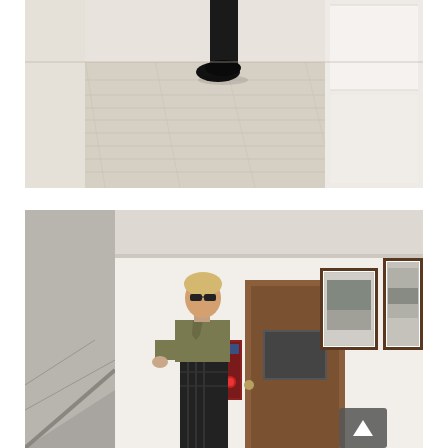[Figure (photo): Top photo: A minimalist interior scene with wide light wood plank flooring. A person's legs and black leather shoes/loafers are visible in the upper-center area, standing near a white wall with storage/cabinetry on the right side.]
[Figure (photo): Bottom photo: A building hallway or foyer with cream/off-white walls. A blonde woman wearing sunglasses, an olive/khaki shirt and dark checkered skirt stands by an elevator door (wooden frame, brown/red intercom panel). To her right are two framed black-and-white photographs on the wall. White staircase visible on the left. A dark scroll-to-top button overlay appears in the bottom-right corner.]